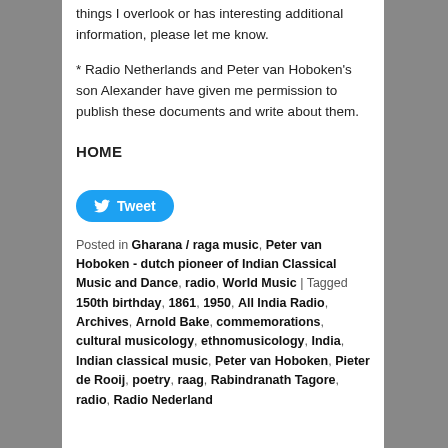things I overlook or has interesting additional information, please let me know.
* Radio Netherlands and Peter van Hoboken's son Alexander have given me permission to publish these documents and write about them.
HOME
[Figure (other): Twitter Tweet button, blue rounded pill shape with bird icon and 'Tweet' text]
Posted in Gharana / raga music, Peter van Hoboken - dutch pioneer of Indian Classical Music and Dance, radio, World Music | Tagged 150th birthday, 1861, 1950, All India Radio, Archives, Arnold Bake, commemorations, cultural musicology, ethnomusicology, India, Indian classical music, Peter van Hoboken, Pieter de Rooij, poetry, raag, Rabindranath Tagore, radio, Radio Nederland